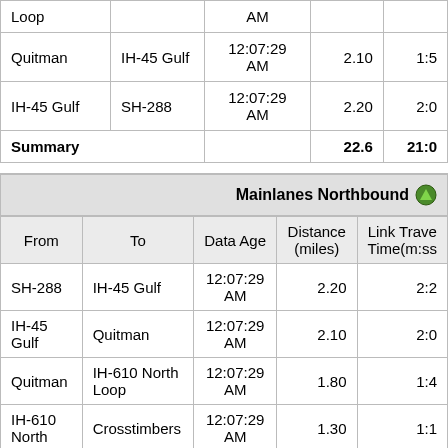| From | To | Data Age | Distance (miles) | Link Travel Time(m:ss) |
| --- | --- | --- | --- | --- |
| Loop |  | AM |  |  |
| Quitman | IH-45 Gulf | 12:07:29 AM | 2.10 | 1:5 |
| IH-45 Gulf | SH-288 | 12:07:29 AM | 2.20 | 2:0 |
| Summary |  |  | 22.6 | 21:0 |
Mainlanes Northbound
| From | To | Data Age | Distance (miles) | Link Travel Time(m:ss) |
| --- | --- | --- | --- | --- |
| SH-288 | IH-45 Gulf | 12:07:29 AM | 2.20 | 2:2 |
| IH-45 Gulf | Quitman | 12:07:29 AM | 2.10 | 2:0 |
| Quitman | IH-610 North Loop | 12:07:29 AM | 1.80 | 1:4 |
| IH-610 North | Crosstimbers | 12:07:29 AM | 1.30 | 1:1 |